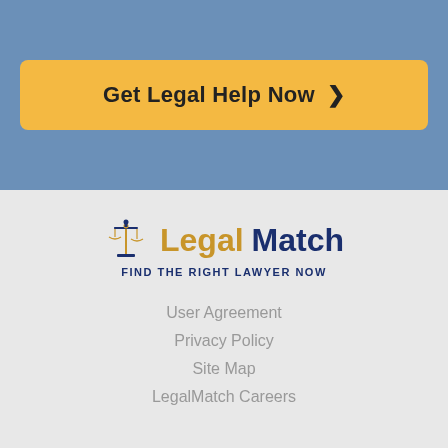[Figure (other): Get Legal Help Now call-to-action button with golden/amber background and chevron arrow, on blue background]
[Figure (logo): LegalMatch logo with scales of justice icon, 'Legal' in gold and 'Match' in dark blue, tagline 'FIND THE RIGHT LAWYER NOW']
User Agreement
Privacy Policy
Site Map
LegalMatch Careers